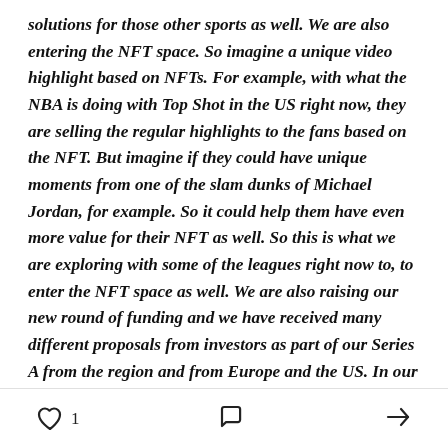solutions for those other sports as well. We are also entering the NFT space. So imagine a unique video highlight based on NFTs. For example, with what the NBA is doing with Top Shot in the US right now, they are selling the regular highlights to the fans based on the NFT. But imagine if they could have unique moments from one of the slam dunks of Michael Jordan, for example. So it could help them have even more value for their NFT as well. So this is what we are exploring with some of the leagues right now to, to enter the NFT space as well. We are also raising our new round of funding and we have received many different proposals from investors as part of our Series A from the region and from Europe and the US. In our pre
1 [like] [comment] [share]